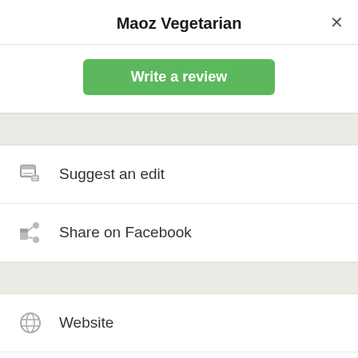Maoz Vegetarian
Write a review
Suggest an edit
Share on Facebook
Website
Facebook page